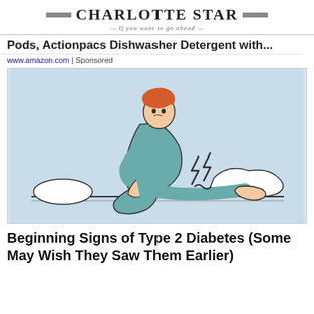Charlotte Star — If you want to go ahead
Pods, Actionpacs Dishwasher Detergent with...
www.amazon.com | Sponsored
[Figure (illustration): Illustration of a person sitting on a bed, holding their foot in pain, with lightning bolt symbols indicating pain near the foot area. White pillow visible on left and white bedding on right. Light blue background.]
Beginning Signs of Type 2 Diabetes (Some May Wish They Saw Them Earlier)